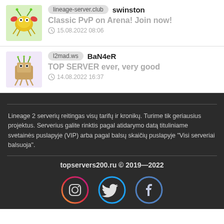lineage-server.club  swinston
Classic PvP on Arena! Join now!
15.08.2022 08:06
l2mad.ws  BaN4eR
TOP SERVER ever, very good
14.08.2022 16:37
Lineage 2 serverių reitingas visų tarifų ir kronikų. Turime tik geriausius projektus. Serverius galite rinktis pagal atidarymo datą tituliniame svetainės puslapyje (VIP) arba pagal balsų skaičių puslapyje "Visi serveriai balsuoja".
topservers200.ru © 2019—2022